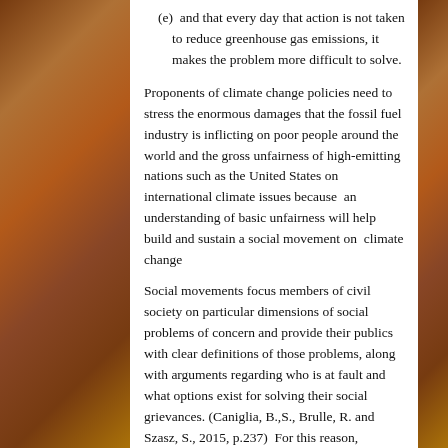(e)  and that every day that action is not taken to reduce greenhouse gas emissions, it makes the problem more difficult to solve.
Proponents of climate change policies need to stress the enormous damages that the fossil fuel industry is inflicting on poor people around the world and the gross unfairness of high-emitting nations such as the United States on international climate issues because  an understanding of basic unfairness will help build and sustain a social movement on  climate change
Social movements focus members of civil society on particular dimensions of social problems of concern and provide their publics with clear definitions of those problems, along with arguments regarding who is at fault and what options exist for solving their social grievances. (Caniglia, B.,S., Brulle, R. and Szasz, S., 2015, p.237)  For this reason,  proponents of climate change policies should seek to widely educate civil society about who has funded the numerous participants in the climate change